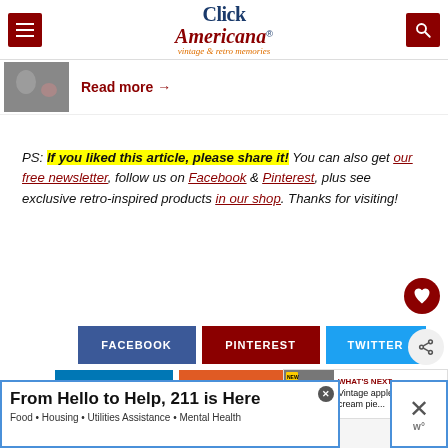Click Americana - vintage & retro memories
Read more →
PS: If you liked this article, please share it! You can also get our free newsletter, follow us on Facebook & Pinterest, plus see exclusive retro-inspired products in our shop. Thanks for visiting!
[Figure (screenshot): Social share buttons: FACEBOOK, PINTEREST, TWITTER, LINKEDIN, REDDIT, EMAIL]
WHAT'S NEXT → Vintage apple cream pie...
You might also like
[Figure (infographic): Ad banner: From Hello to Help, 211 is Here. Food • Housing • Utilities Assistance • Mental Health]